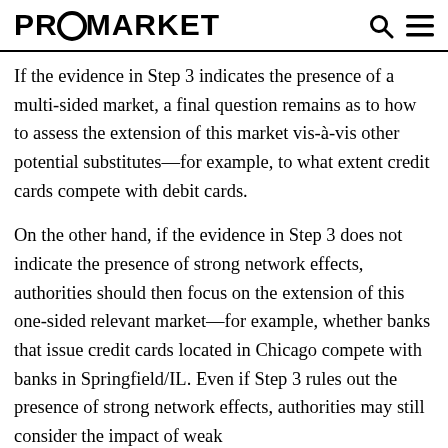PROMARKET
If the evidence in Step 3 indicates the presence of a multi-sided market, a final question remains as to how to assess the extension of this market vis-à-vis other potential substitutes—for example, to what extent credit cards compete with debit cards.
On the other hand, if the evidence in Step 3 does not indicate the presence of strong network effects, authorities should then focus on the extension of this one-sided relevant market—for example, whether banks that issue credit cards located in Chicago compete with banks in Springfield/IL. Even if Step 3 rules out the presence of strong network effects, authorities may still consider the impact of weak